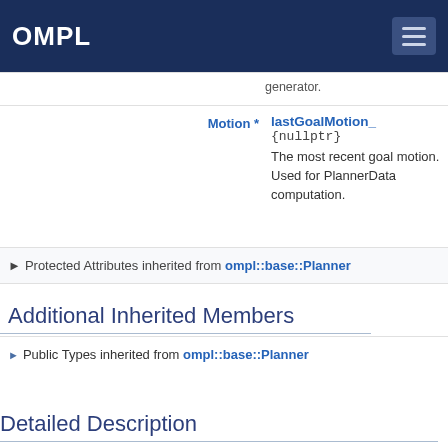OMPL
| Type | Name | Description |
| --- | --- | --- |
|  | generator. |  |
| Motion * | lastGoalMotion_
{nullptr} | The most recent goal motion. Used for PlannerData computation. |
▶ Protected Attributes inherited from ompl::base::Planner
Additional Inherited Members
▶ Public Types inherited from ompl::base::Planner
Detailed Description
Rapidly-exploring Random Trees.
Short description
at uses the following idea: RRT
Loading [MathJax]/extensions/TeX/AMSmath.js